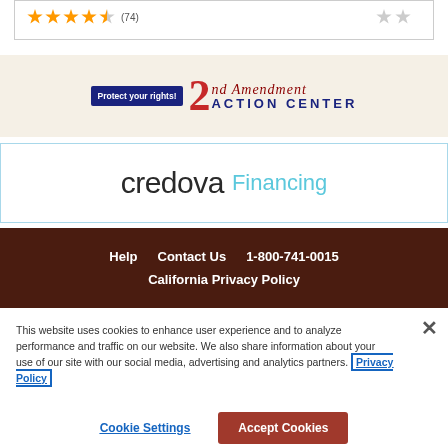[Figure (screenshot): Top portion of a product review section with orange star ratings and grey empty stars]
[Figure (logo): 2nd Amendment Action Center banner ad with 'Protect your rights!' button on beige background]
[Figure (logo): Credova Financing logo in a white box with light blue border]
Help   Contact Us   1-800-741-0015   California Privacy Policy
This website uses cookies to enhance user experience and to analyze performance and traffic on our website. We also share information about your use of our site with our social media, advertising and analytics partners. Privacy Policy
Cookie Settings   Accept Cookies